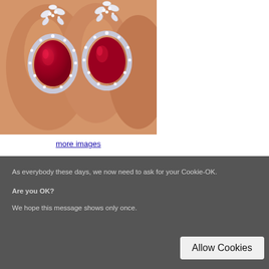[Figure (photo): Close-up photo of two elegant diamond and ruby drop earrings held between fingers. Each earring features a diamond cluster top with leaf/floral design and a large teardrop-shaped ruby stone surrounded by a diamond halo, set in white gold or platinum.]
more images
Price: $14,200.00
back
As everybody these days, we now need to ask for your Cookie-OK.
Are you OK?
We hope this message shows only once.
Allow Cookies